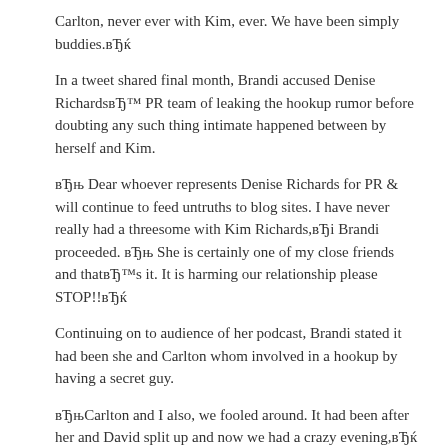Carlton, never ever with Kim, ever. We have been simply buddies.вЂќ
In a tweet shared final month, Brandi accused Denise RichardsvЂ™ PR team of leaking the hookup rumor before doubting any such thing intimate happened between by herself and Kim.
вЂњ Dear whoever represents Denise Richards for PR & will continue to feed untruths to blog sites. I have never really had a threesome with Kim Richards,вЂi Brandi proceeded. вЂњ She is certainly one of my close friends and thatвЂ™s it. It is harming our relationship please STOP!!вЂќ
Continuing on to audience of her podcast, Brandi stated it had been she and Carlton whom involved in a hookup by having a secret guy.
вЂњCarlton and I also, we fooled around. It had been after her and David split up and now we had a crazy evening,вЂќ she shared.
Are you aware that misconception people that are biggest have actually of her as a consequence of her time on RHOBH, Brandi stated watchers frequently think this woman is вЂњdrunk 7 days a week, round the clock.вЂќ